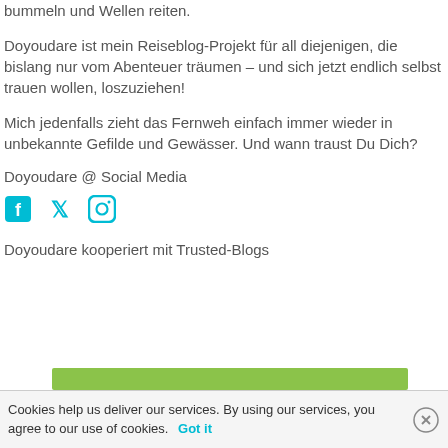bummeln und Wellen reiten.
Doyoudare ist mein Reiseblog-Projekt für all diejenigen, die bislang nur vom Abenteuer träumen – und sich jetzt endlich selbst trauen wollen, loszuziehen!
Mich jedenfalls zieht das Fernweh einfach immer wieder in unbekannte Gefilde und Gewässer. Und wann traust Du Dich?
Doyoudare @ Social Media
[Figure (infographic): Social media icons: Facebook, Twitter, Instagram in teal color]
Doyoudare kooperiert mit Trusted-Blogs
[Figure (other): Green horizontal bar (Trusted-Blogs logo/banner)]
Cookies help us deliver our services. By using our services, you agree to our use of cookies. Got it